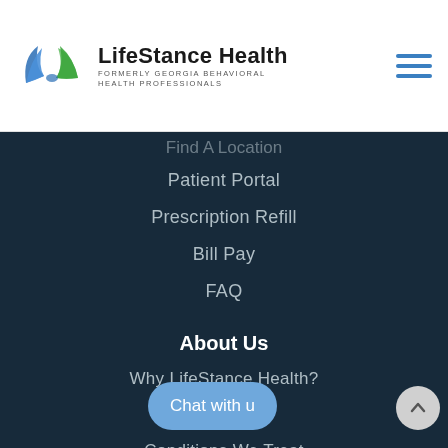[Figure (logo): LifeStance Health logo with stylized wings/leaves in blue and green, company name in bold, subtitle 'FORMERLY GEORGIA BEHAVIORAL HEALTH PROFESSIONALS']
Find A Location
Patient Portal
Prescription Refill
Bill Pay
FAQ
About Us
Why LifeStance Health?
Blog
Conditions We Treat
Careers
Privacy Policy
Contact Us